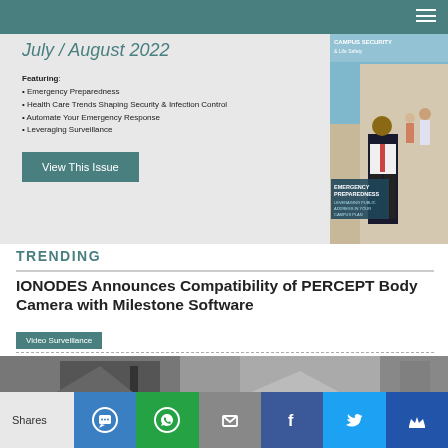July / August 2022
Featuring:
• Emergency Preparedness
• Health Care Trends Shaping Security & Infection Control
• Automate Your Emergency Response
• Leveraging Surveillance
[Figure (photo): Campus Security magazine cover showing a security officer in a hallway with students in background; text reads EMERGENCY PREPAREDNESS, LEVERAGING PUBLIC ADDRESS IN YOUR CAMPUS PLAN]
View This Issue
TRENDING
IONODES Announces Compatibility of PERCEPT Body Camera with Milestone Software
Video Surveillance
[Figure (photo): Partial article image showing multiple cameras or security equipment]
Shares